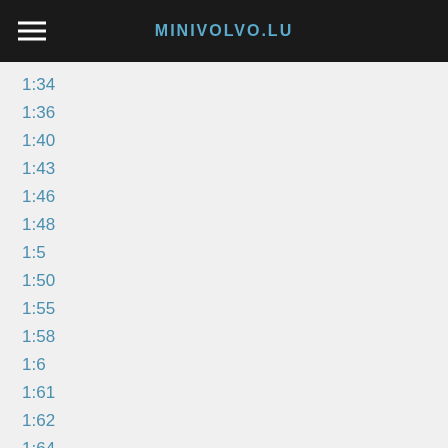MINIVOLVO.LU
1:34
1:36
1:40
1:43
1:46
1:48
1:5
1:50
1:55
1:58
1:6
1:61
1:62
1:64
1:72
1:87
1:90
Abc Hobby
Abrex